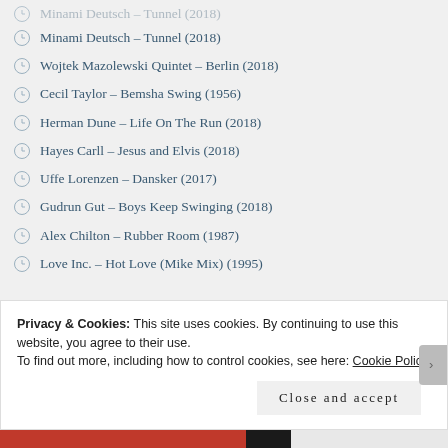Minami Deutsch – Tunnel (2018)
Wojtek Mazolewski Quintet – Berlin (2018)
Cecil Taylor – Bemsha Swing (1956)
Herman Dune – Life On The Run (2018)
Hayes Carll – Jesus and Elvis (2018)
Uffe Lorenzen – Dansker (2017)
Gudrun Gut – Boys Keep Swinging (2018)
Alex Chilton – Rubber Room (1987)
Love Inc. – Hot Love (Mike Mix) (1995)
Privacy & Cookies: This site uses cookies. By continuing to use this website, you agree to their use.
To find out more, including how to control cookies, see here: Cookie Policy
Close and accept